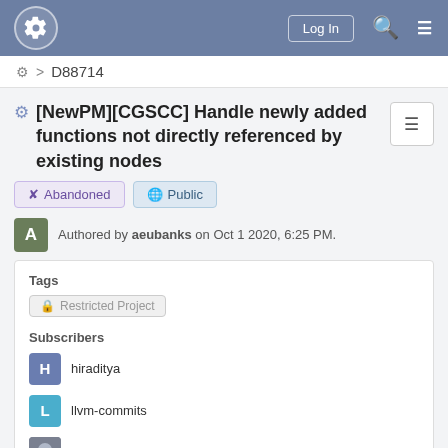Log In
⚙ > D88714
[NewPM][CGSCC] Handle newly added functions not directly referenced by existing nodes
✈ Abandoned   🌐 Public
Authored by aeubanks on Oct 1 2020, 6:25 PM.
Tags
🔒 Restricted Project
Subscribers
hiraditya
llvm-commits
lxfind
MaskRay